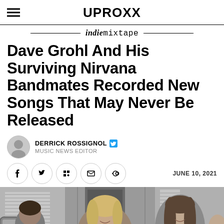UPROXX
indie mixtape
Dave Grohl And His Surviving Nirvana Bandmates Recorded New Songs That May Never Be Released
DERRICK ROSSIGNOL – MUSIC NEWS EDITOR
JUNE 10, 2021
[Figure (photo): Photo of Nirvana band members smiling, outdoors near a vehicle. Three people visible, one with blonde hair in center.]